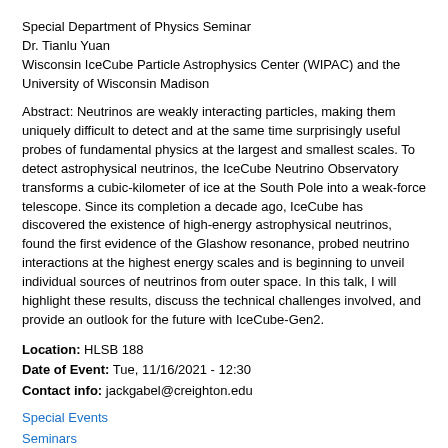Special Department of Physics Seminar
Dr. Tianlu Yuan
Wisconsin IceCube Particle Astrophysics Center (WIPAC) and the University of Wisconsin Madison
Abstract: Neutrinos are weakly interacting particles, making them uniquely difficult to detect and at the same time surprisingly useful probes of fundamental physics at the largest and smallest scales. To detect astrophysical neutrinos, the IceCube Neutrino Observatory transforms a cubic-kilometer of ice at the South Pole into a weak-force telescope. Since its completion a decade ago, IceCube has discovered the existence of high-energy astrophysical neutrinos, found the first evidence of the Glashow resonance, probed neutrino interactions at the highest energy scales and is beginning to unveil individual sources of neutrinos from outer space. In this talk, I will highlight these results, discuss the technical challenges involved, and provide an outlook for the future with IceCube-Gen2.
Location:  HLSB 188
Date of Event:  Tue, 11/16/2021 - 12:30
Contact info:  jackgabel@creighton.edu
Special Events
Seminars